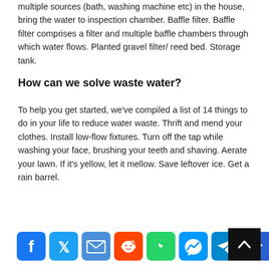multiple sources (bath, washing machine etc) in the house, bring the water to inspection chamber. Baffle filter. Baffle filter comprises a filter and multiple baffle chambers through which water flows. Planted gravel filter/ reed bed. Storage tank.
How can we solve waste water?
To help you get started, we've compiled a list of 14 things to do in your life to reduce water waste. Thrift and mend your clothes. Install low-flow fixtures. Turn off the tap while washing your face, brushing your teeth and shaving. Aerate your lawn. If it's yellow, let it mellow. Save leftover ice. Get a rain barrel.
[Figure (other): Social sharing icons row: Facebook (blue), Twitter (blue), Email (blue), Reddit (orange-red), WhatsApp (green), Messenger (light blue), Telegram (blue), Share/Add (blue). Plus a black back-to-top button with an up arrow on the right.]